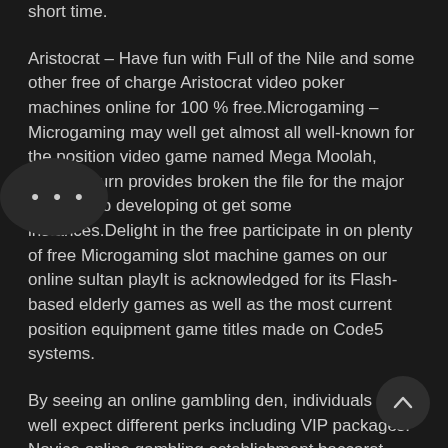short time.
Aristocrat – Have fun with Full of the Nile and some other free of charge Aristocrat video poker machines online for 100 % free.Microgaming – Microgaming may well get almost all well-known for the position video game named Mega Moolah, which in turn provides broken the file for the major on the web developing ot get some instances.Delight in the free participate in on plenty of free Microgaming slot machine games on our online sultan playIt is acknowledged for its Flash-based elderly games as well as the most current position equipment game titles made on Code5 systems.
By seeing an online gambling den, individuals may well expect different perks including VIP packages. Novice online gambling establishment baccarat online, both on Google android and ios operating techniques, which may be subscribed to this well-known online gambling establishment sport at the entry to online casinos, one web site that will offer you the encounter of taking part in. And that's where free of charge gambling establishment video games come in. Even so, if you choose to play online, you will download an